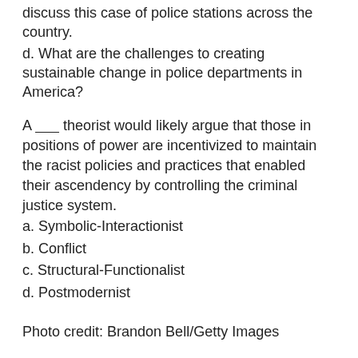discuss this case of police stations across the country.
d. What are the challenges to creating sustainable change in police departments in America?
A ______ theorist would likely argue that those in positions of power are incentivized to maintain the racist policies and practices that enabled their ascendency by controlling the criminal justice system.
a. Symbolic-Interactionist
b. Conflict
c. Structural-Functionalist
d. Postmodernist
Photo credit: Brandon Bell/Getty Images
Share this:
Twitter
Facebook